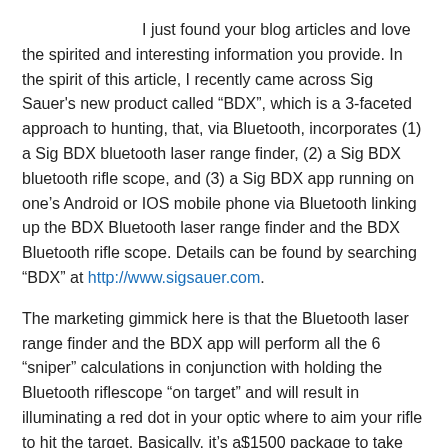I just found your blog articles and love the spirited and interesting information you provide. In the spirit of this article, I recently came across Sig Sauer's new product called “BDX”, which is a 3-faceted approach to hunting, that, via Bluetooth, incorporates (1) a Sig BDX bluetooth laser range finder, (2) a Sig BDX bluetooth rifle scope, and (3) a Sig BDX app running on one’s Android or IOS mobile phone via Bluetooth linking up the BDX Bluetooth laser range finder and the BDX Bluetooth rifle scope. Details can be found by searching “BDX” at http://www.sigsauer.com.
The marketing gimmick here is that the Bluetooth laser range finder and the BDX app will perform all the 6 “sniper” calculations in conjunction with holding the Bluetooth riflescope “on target” and will result in illuminating a red dot in your optic where to aim your rifle to hit the target. Basically, it’s a$1500 package to take the “math” and “the guesswork” out of hunting.